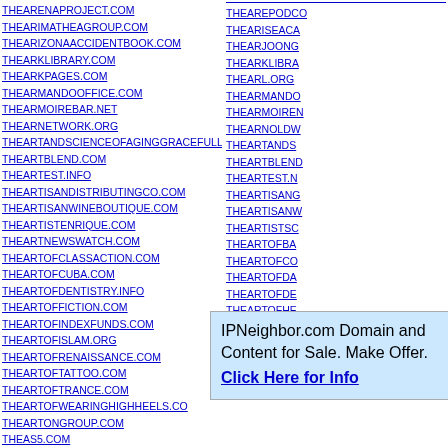THEARENAPROJECT.COM
THEARIMATHEAGROUP.COM
THEARIZONAACCIDENTBOOK.COM
THEARKLIBRARY.COM
THEARKPAGES.COM
THEARMANDOOFFICE.COM
THEARMOIREBAR.NET
THEARNETWORK.ORG
THEARTANDSCIENCEOFAGINGGRACEFULLY.COM
THEARTBLEND.COM
THEARTEST.INFO
THEARTISANDISTRIBUTINGCO.COM
THEARTISANWINEBOUTIQUE.COM
THEARTISTENRIQUE.COM
THEARTNEWSWATCH.COM
THEARTOFCLASSACTION.COM
THEARTOFCUBA.COM
THEARTOFDENTISTRY.INFO
THEARTOFFICTION.COM
THEARTOFINDEXFUNDS.COM
THEARTOFISLAM.ORG
THEARTOFRENAISSANCE.COM
THEARTOFTATTOO.COM
THEARTOFTRANCE.COM
THEARTOFWEARINGHIGHHEELS.COM
THEARTONGROUP.COM
THEAS5.COM
THEASCENTATSPRINGHILL.COM
THEAREPODCAST (truncated)
THEARISEACA (truncated)
THEARJOONG (truncated)
THEARKLIBRA (truncated)
THEARL.ORG
THEARMANDO (truncated)
THEARMOIREN (truncated)
THEARNOLDW (truncated)
THEARTANDS (truncated)
THEARTBLEND (truncated)
THEARTEST.N (truncated)
THEARTISANG (truncated)
THEARTISANW (truncated)
THEARTISTSC (truncated)
THEARTOFBA (truncated)
THEARTOFCO (truncated)
THEARTOFDA (truncated)
THEARTOFDE (truncated)
THEARTOFHE (truncated)
THEARTOFIND (truncated)
THEARTOFKIS (truncated)
THEARTOFSC (truncated)
THEARTOFTH (truncated)
IPNeighbor.com Domain and Content for Sale. Make Offer. Click Here for Info